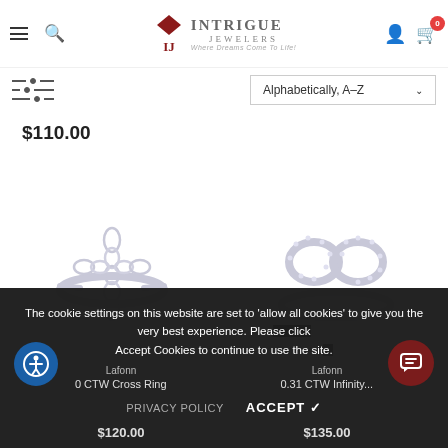Intrigue Jewelers — Where Dreams Come To Life!
Alphabetically, A-Z
$110.00
[Figure (photo): Diamond cross ring in white gold with marquise and round diamonds arranged in a cross pattern on a silver band]
[Figure (photo): Diamond infinity ring in white gold with round diamonds pave-set along an infinity symbol shape on a silver band]
Lafonn
Lafonn
0 CTW Cross Ring
0.31 CTW Infinity Ring
$120.00
$135.00
The cookie settings on this website are set to 'allow all cookies' to give you the very best experience. Please click Accept Cookies to continue to use the site.
PRIVACY POLICY
ACCEPT ✓